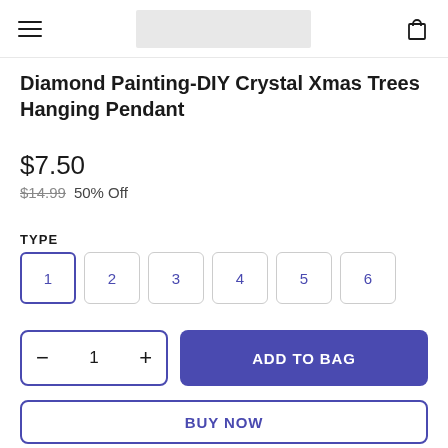Diamond Painting-DIY Crystal Xmas Trees Hanging Pendant
$7.50
$14.99  50% Off
TYPE
1
2
3
4
5
6
- 1 +  ADD TO BAG
BUY NOW